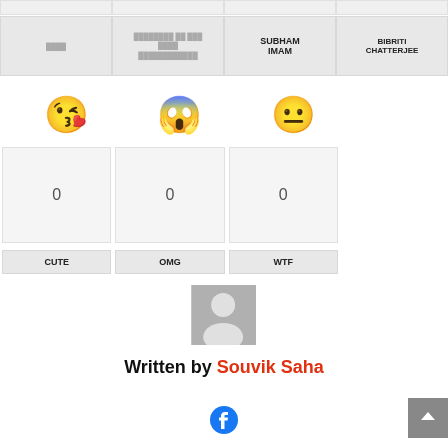|  |  |  |  |
| --- | --- | --- | --- |
|  |  | SUBHAM IMAM | BIBRITI CHATTERJEE |
[Figure (infographic): Three emoji faces: kissing face with heart, shocked/OMG face, and neutral face]
| 0 | 0 | 0 |
| --- | --- | --- |
| CUTE | OMG | WTF |
| --- | --- | --- |
[Figure (photo): Default avatar/user placeholder image - grey background with white person silhouette]
Written by Souvik Saha
[Figure (logo): Facebook logo icon]